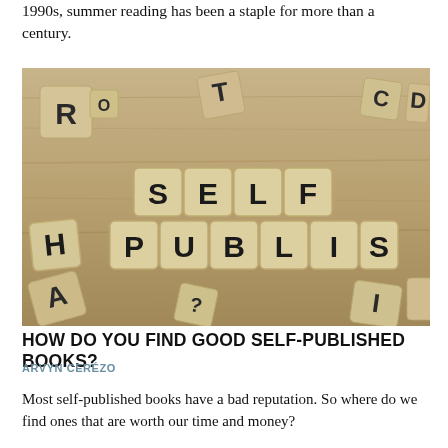1990s, summer reading has been a staple for more than a century.
[Figure (photo): Wooden letter tiles on a wooden surface spelling out 'SELF PUBLISH' in the center, with scattered letter tiles around them (R, O, T, C, D, A and others visible).]
HOW DO YOU FIND GOOD SELF-PUBLISHED BOOKS?
ARVYN CERÉZO
Most self-published books have a bad reputation. So where do we find ones that are worth our time and money?